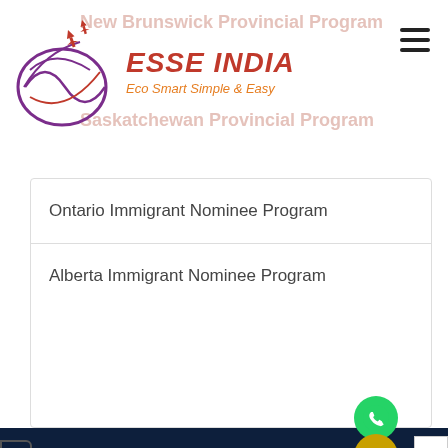[Figure (logo): Esse India logo with stylized globe and airplane, red and purple colors]
ESSE INDIA
Eco Smart Simple & Easy
Ontario Immigrant Nominee Program
Alberta Immigrant Nominee Program
Head Office :
Building No.5, 3rd Floor, Kehar Singh Estate, Westend Marg, Lane No.2
Saidulajab, Saket, New Delhi 110030
Featured Links